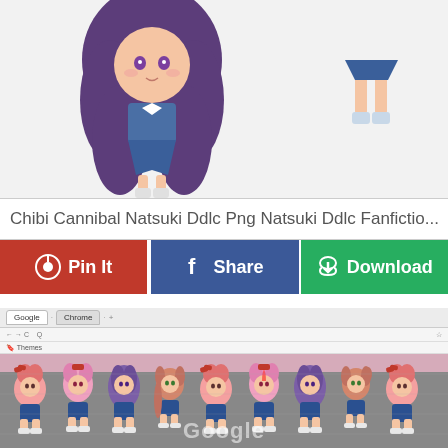[Figure (illustration): Two chibi anime character illustrations (Natsuki from DDLC) on a light gray background. Left character has large purple hair, blue school uniform, white knee socks. Right character is partially visible showing just legs/skirt in same uniform.]
Chibi Cannibal Natsuki Ddlc Png Natsuki Ddlc Fanfictio...
[Figure (infographic): Three social sharing buttons in a row: red Pinterest 'Pin It' button, blue Facebook 'Share' button, and green 'Download' button with cloud icon.]
[Figure (screenshot): Screenshot of a Google Chrome browser window showing a DDLC (Doki Doki Literature Club) Chrome theme. The browser displays a pink background theme with a row of chibi anime character stickers along the bottom, and a Google search bar. Multiple chibi characters with different hair colors are visible.]